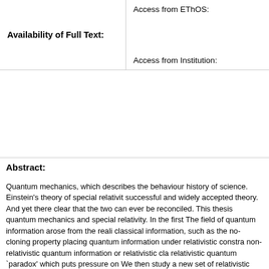|  |  |
| --- | --- |
| Availability of Full Text: | Access from EThOS:

Access from Institution: |
Abstract:
Quantum mechanics, which describes the behaviour history of science. Einstein's theory of special relativit successful and widely accepted theory. And yet there clear that the two can ever be reconciled. This thesis quantum mechanics and special relativity. In the first The field of quantum information arose from the reali classical information, such as the no-cloning property placing quantum information under relativistic constra non-relativistic quantum information or relativistic cla relativistic quantum `paradox' which puts pressure on We then study a new set of relativistic quantum proto involving the distribution of the two halves of a known unknown entangled state. The second part of the the serious attention when it was realised that a cryptogra relativistic constraints. This result was highly significa purely classical or purely quantum context, and henc cryptography. In this thesis we propose several new r previously known protocols. We then move to a relate concealing evidencing of knowledge of a quantum sta perfect security, and then set out a relativistic protococ becomes large. These results have interesting found...